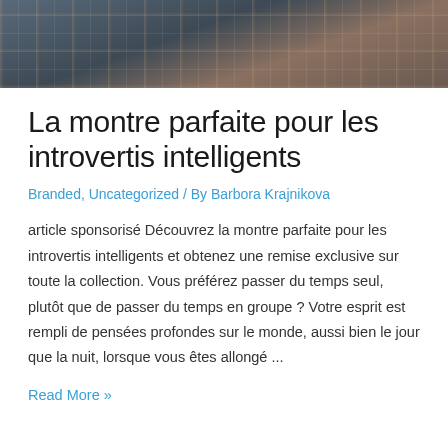[Figure (photo): Partial photo of a person wearing a plaid/checkered fabric garment, cropped at top of page]
La montre parfaite pour les introvertis intelligents
Branded, Uncategorized / By Barbora Krajnikova
article sponsorisé Découvrez la montre parfaite pour les introvertis intelligents et obtenez une remise exclusive sur toute la collection. Vous préférez passer du temps seul, plutôt que de passer du temps en groupe ? Votre esprit est rempli de pensées profondes sur le monde, aussi bien le jour que la nuit, lorsque vous êtes allongé ...
Read More »